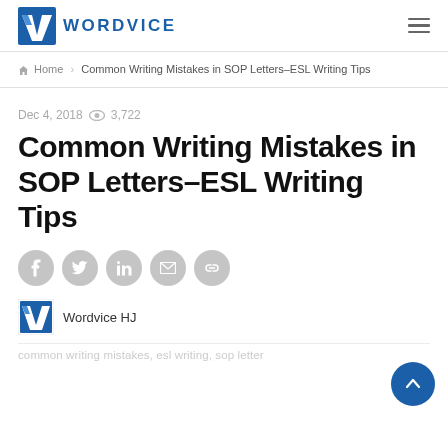WORDVICE
Home > Common Writing Mistakes in SOP Letters–ESL Writing Tips
Dec 4, 2018  3,722
Common Writing Mistakes in SOP Letters–ESL Writing Tips
[Figure (other): Social sharing buttons: Facebook, Twitter, LinkedIn, Email, Link]
Wordvice HJ
common writing mistakes, esl writing, sop letter